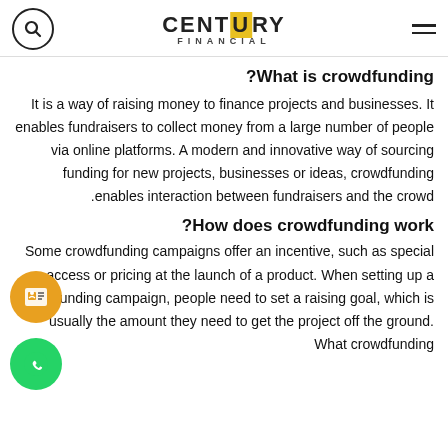Century Financial
What is crowdfunding?
It is a way of raising money to finance projects and businesses. It enables fundraisers to collect money from a large number of people via online platforms. A modern and innovative way of sourcing funding for new projects, businesses or ideas, crowdfunding enables interaction between fundraisers and the crowd.
How does crowdfunding work?
Some crowdfunding campaigns offer an incentive, such as special access or pricing at the launch of a product. When setting up a crowdfunding campaign, people need to set a raising goal, which is usually the amount they need to get the project off the ground. What crowdfunding